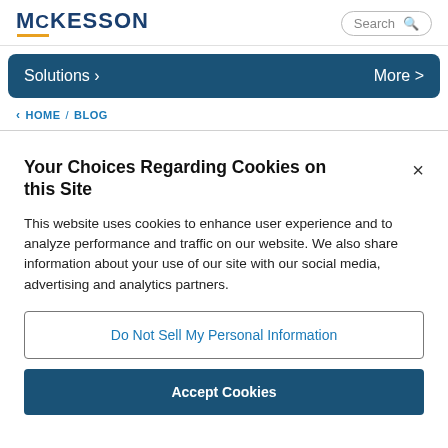MCKESSON
Solutions > More >
< HOME / BLOG
Your Choices Regarding Cookies on this Site
This website uses cookies to enhance user experience and to analyze performance and traffic on our website. We also share information about your use of our site with our social media, advertising and analytics partners.
Do Not Sell My Personal Information
Accept Cookies